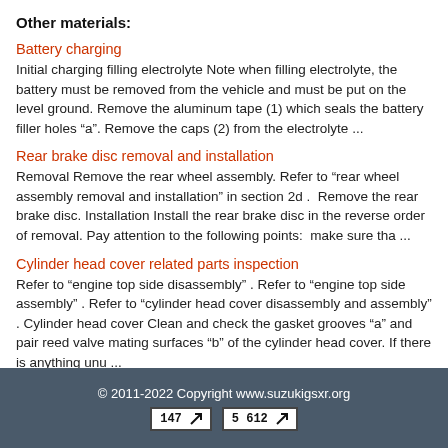Other materials:
Battery charging
Initial charging filling electrolyte Note when filling electrolyte, the battery must be removed from the vehicle and must be put on the level ground. Remove the aluminum tape (1) which seals the battery filler holes “a”. Remove the caps (2) from the electrolyte ...
Rear brake disc removal and installation
Removal Remove the rear wheel assembly. Refer to “rear wheel assembly removal and installation” in section 2d .  Remove the rear brake disc. Installation Install the rear brake disc in the reverse order of removal. Pay attention to the following points:  make sure tha ...
Cylinder head cover related parts inspection
Refer to “engine top side disassembly” . Refer to “engine top side assembly” . Refer to “cylinder head cover disassembly and assembly” . Cylinder head cover Clean and check the gasket grooves “a” and pair reed valve mating surfaces “b” of the cylinder head cover. If there is anything unu ...
© 2011-2022 Copyright www.suzukigsxr.org
147  |  5 612